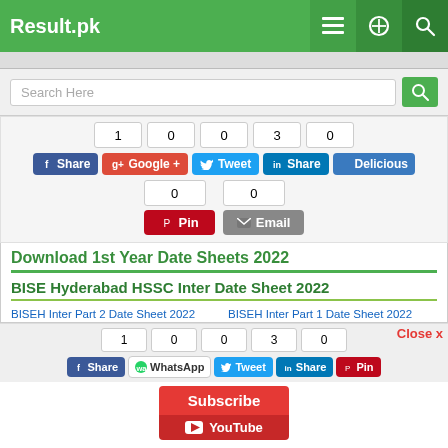Result.pk
Search Here
1  0  0  3  0 | Share  Google+  Tweet  Share  Delicious | 0  0 | Pin  Email
Download 1st Year Date Sheets 2022
BISE Hyderabad HSSC Inter Date Sheet 2022
BISEH Inter Part 2 Date Sheet 2022 | BISEH Inter Part 1 Date Sheet 2022
Close x
1  0  0  3  0 | Share  WhatsApp  Tweet  Share  Pin
Subscribe | YouTube
Admissions | News | Scholarships | Schools | Colleges | Merit Calculator | Ranking
Sheet 2018  2017